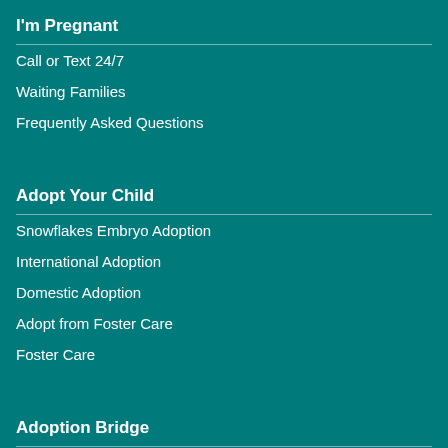I'm Pregnant
Call or Text 24/7
Waiting Families
Frequently Asked Questions
Adopt Your Child
Snowflakes Embryo Adoption
International Adoption
Domestic Adoption
Adopt from Foster Care
Foster Care
Adoption Bridge
Waiting Children